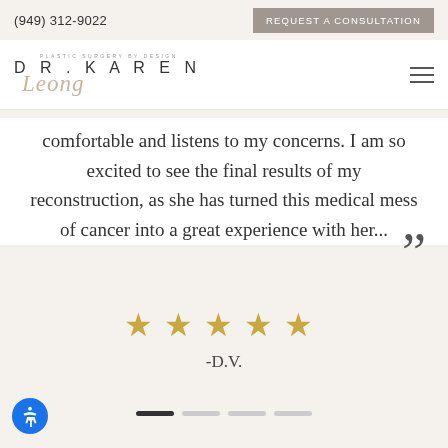(949) 312-9022
REQUEST A CONSULTATION
[Figure (logo): Dr. Karen Leong plastic surgery logo with script font]
comfortable and listens to my concerns. I am so excited to see the final results of my reconstruction, as she has turned this medical mess of cancer into a great experience with her...
[Figure (other): Five gold stars rating]
-D.V.
[Figure (other): Carousel indicator dots: first dot active (dark), three inactive (light)]